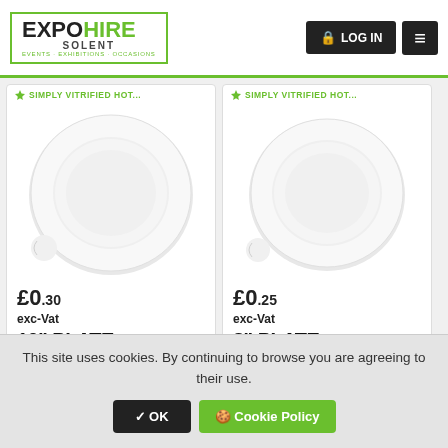[Figure (logo): Expo Hire Solent logo with green bracket border. EXPO in black, HIRE in green, SOLENT subtitle, tagline: EVENTS · EXHIBITIONS · OCCASIONS]
[Figure (photo): White ceramic 10 inch plate on white background, viewed from above, with a small notch cut in the rim]
SIMPLY VITRIFIED HOT...
£0.30 exc-Vat
10" PLATE
3 DAY HIRE
[Figure (photo): White ceramic 8 inch plate on white background, viewed from above, with a small notch cut in the rim]
SIMPLY VITRIFIED HOT...
£0.25 exc-Vat
8" PLATE
3 DAY HIRE
SIMPLY VITRIFIED HOT...
SIMPLY VITRIFIED HOT...
This site uses cookies. By continuing to browse you are agreeing to their use.